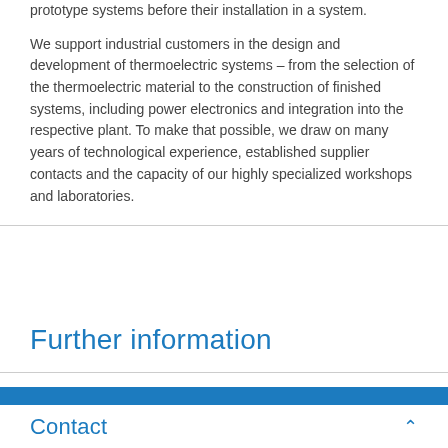prototype systems before their installation in a system.
We support industrial customers in the design and development of thermoelectric systems – from the selection of the thermoelectric material to the construction of finished systems, including power electronics and integration into the respective plant. To make that possible, we draw on many years of technological experience, established supplier contacts and the capacity of our highly specialized workshops and laboratories.
Further information
Contact